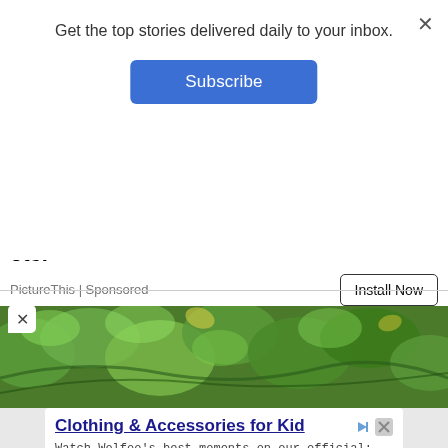Get the top stories delivered daily to your inbox.
Subscribe
[Figure (photo): Close-up photo of green plants/weeds growing through cracks in concrete pavement, with a red vertical line in the center]
Instantly identify flowers, trees, weeds, etc.
PictureThis | Sponsored
Install Now
[Figure (photo): Aerial view of lush green leafy plants/bushes covering the ground]
Clothing & Accessories for Kid
Watch Wolfoo's best moments on our official: Wolfoo Channel, Wolfoo Family
Wolfoo LLC
Open